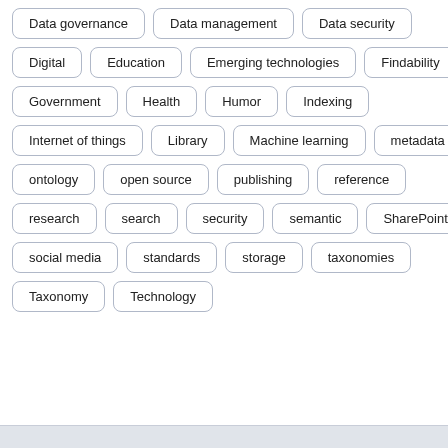Data governance
Data management
Data security
Digital
Education
Emerging technologies
Findability
Government
Health
Humor
Indexing
Internet of things
Library
Machine learning
metadata
ontology
open source
publishing
reference
research
search
security
semantic
SharePoint
social media
standards
storage
taxonomies
Taxonomy
Technology